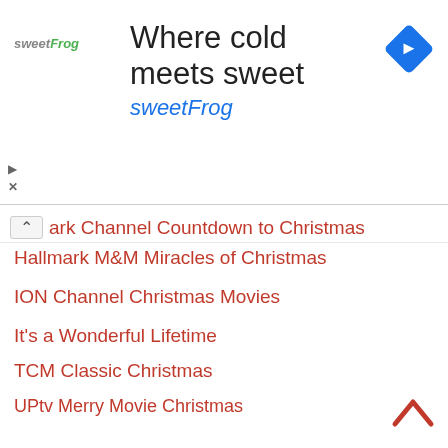[Figure (screenshot): SweetFrog advertisement banner with logo, tagline 'Where cold meets sweet', and blue navigation arrow icon]
ark Channel Countdown to Christmas
Hallmark M&M Miracles of Christmas
ION Channel Christmas Movies
It's a Wonderful Lifetime
TCM Classic Christmas
UPtv Merry Movie Christmas
View more TV Channels.....
[Figure (photo): Car rear window with a white vinyl decal reading 'In Loving Memory Of Name Goes Here' with angel wings design. Background shows blurred building. Watermark reads COPYRIGHT CHRISTMASSTICKERS.COM]